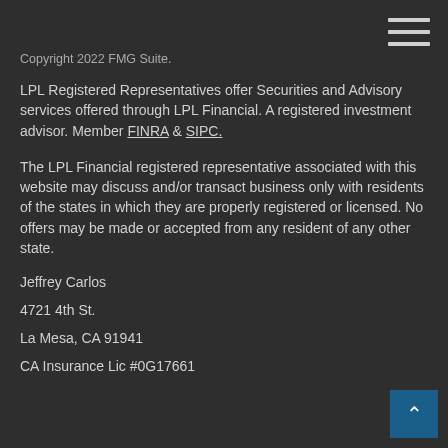Copyright 2022 FMG Suite.
LPL Registered Representatives offer Securities and Advisory services offered through LPL Financial. A registered investment advisor. Member FINRA & SIPC.
The LPL Financial registered representative associated with this website may discuss and/or transact business only with residents of the states in which they are properly registered or licensed. No offers may be made or accepted from any resident of any other state.
Jeffrey Carlos
4721 4th St.
La Mesa, CA 91941
CA Insurance Lic #0G17661